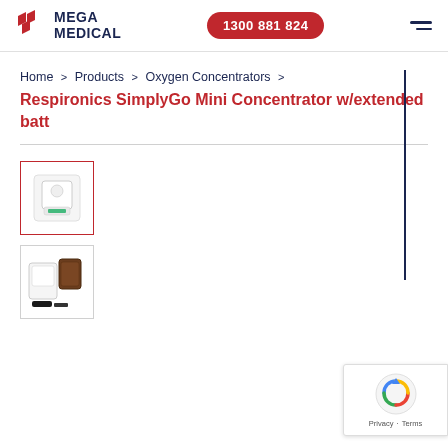Mega Medical — 1300 881 824
Home > Products > Oxygen Concentrators > Respironics SimplyGo Mini Concentrator w/extended batt
[Figure (photo): Thumbnail of Respironics SimplyGo Mini Concentrator, white portable oxygen concentrator, selected/active state with red border]
[Figure (photo): Thumbnail of Respironics SimplyGo Mini Concentrator with extended battery pack and accessories]